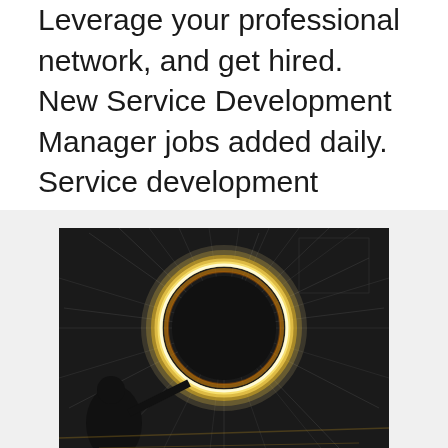Leverage your professional network, and get hired. New Service Development Manager jobs added daily. Service development manager job description. Enter your email address to receive alerts when we have new listings available for Service development manager job description.
[Figure (photo): A dramatic long-exposure photograph of a person spinning steel wool or sparklers, creating a large circular ring of golden/white light trails against a dark background with radiating streaks of light.]